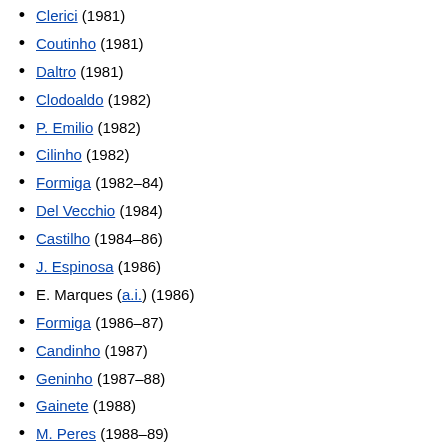Clerici (1981)
Coutinho (1981)
Daltro (1981)
Clodoaldo (1982)
P. Emilio (1982)
Cilinho (1982)
Formiga (1982–84)
Del Vecchio (1984)
Castilho (1984–86)
J. Espinosa (1986)
E. Marques (a.i.) (1986)
Formiga (1986–87)
Candinho (1987)
Geninho (1987–88)
Gainete (1988)
M. Peres (1988–89)
Nicanor (1989)
Pratalli (a.i.) (1989)
Pepe (1989–90)
Cabralzinho (1991)
Ramiro (1991)
Pasca (a.i.) (1991)
Minelli (1992)
Geninho (1992)
Dé (a.i.) (1992)